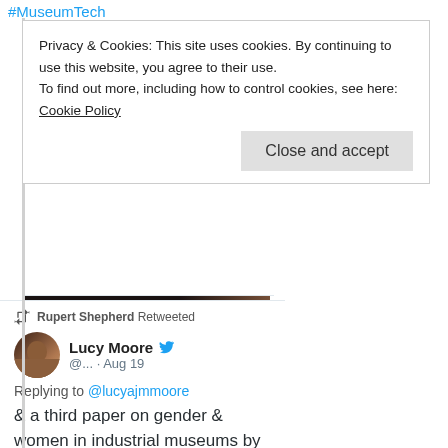#MuseumTech
Privacy & Cookies: This site uses cookies. By continuing to use this website, you agree to their use.
To find out more, including how to control cookies, see here: Cookie Policy
[Figure (screenshot): TMS Knowledge banner image with dark background showing 'TMS' in large white bold text and 'Knowledge' below it]
1 like
Rupert Shepherd Retweeted
Lucy Moore @... · Aug 19
Replying to @lucyajmmoore
& a third paper on gender & women in industrial museums by Sophie Kuehnlenz - this led to brilliant discussion and...